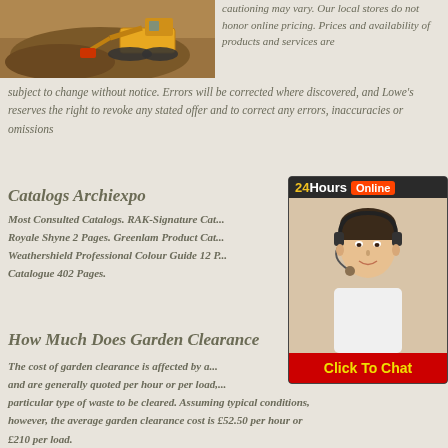[Figure (photo): Construction excavator working on a dirt site, orange/yellow machine]
...cautioning may vary. Our local stores do not honor online pricing. Prices and availability of products and services are subject to change without notice. Errors will be corrected where discovered, and Lowe's reserves the right to revoke any stated offer and to correct any errors, inaccuracies or omissions
Catalogs Archiexpo
Most Consulted Catalogs. RAK-Signature Cat... Royale Shyne 2 Pages. Greenlam Product Cat... Weathershield Professional Colour Guide 12 P... Catalogue 402 Pages.
[Figure (photo): Customer service representative wearing headset, 24 Hours Online chat widget with Click To Chat button]
How Much Does Garden Clearance
The cost of garden clearance is affected by a... and are generally quoted per hour or per load,... particular type of waste to be cleared. Assuming typical conditions, however, the average garden clearance cost is £52.50 per hour or £210 per load.